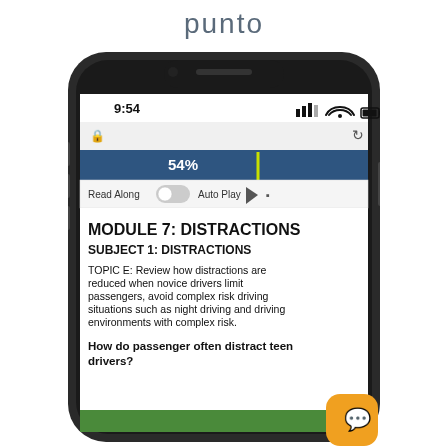punto
[Figure (screenshot): iPhone X showing a driver education app screen. The phone displays 'MODULE 7: DISTRACTIONS', 'SUBJECT 1: DISTRACTIONS', and 'TOPIC E: Review how distractions are reduced when novice drivers limit passengers, avoid complex risk driving situations such as night driving and driving environments with complex risk.' with a progress bar at 54% and Read Along / Auto Play controls. Status bar shows 9:54. An orange chat button appears at bottom right.]